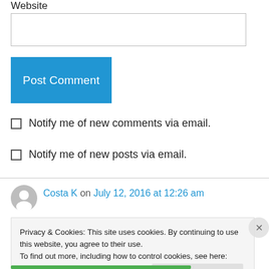Website
Post Comment
Notify me of new comments via email.
Notify me of new posts via email.
Costa K on July 12, 2016 at 12:26 am
Privacy & Cookies: This site uses cookies. By continuing to use this website, you agree to their use.
To find out more, including how to control cookies, see here: Cookie Policy
Close and accept